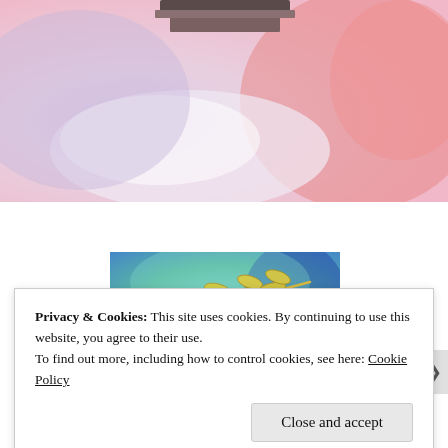[Figure (photo): Close-up photo of a rubber stamp or seal resting on a colorful pink, lavender, and white ink-stained surface]
[Figure (photo): Decorative artwork showing gold/yellow leaf branch design on a blue-green watercolor background]
Privacy & Cookies: This site uses cookies. By continuing to use this website, you agree to their use.
To find out more, including how to control cookies, see here: Cookie Policy
Close and accept